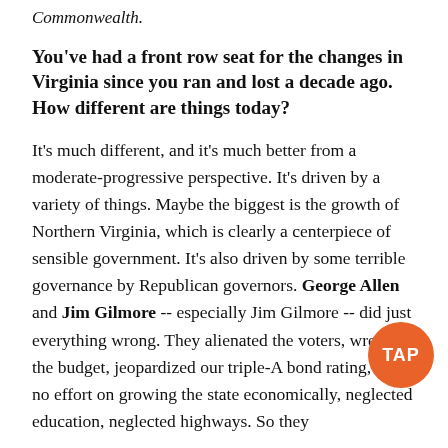Commonwealth.
You've had a front row seat for the changes in Virginia since you ran and lost a decade ago. How different are things today?
It's much different, and it's much better from a moderate-progressive perspective. It's driven by a variety of things. Maybe the biggest is the growth of Northern Virginia, which is clearly a centerpiece of sensible government. It's also driven by some terrible governance by Republican governors. George Allen and Jim Gilmore -- especially Jim Gilmore -- did just everything wrong. They alienated the voters, wrecked the budget, jeopardized our triple-A bond rating, spent no effort on growing the state economically, neglected education, neglected highways. So they set it up perfectly for someone like Mark Warner to